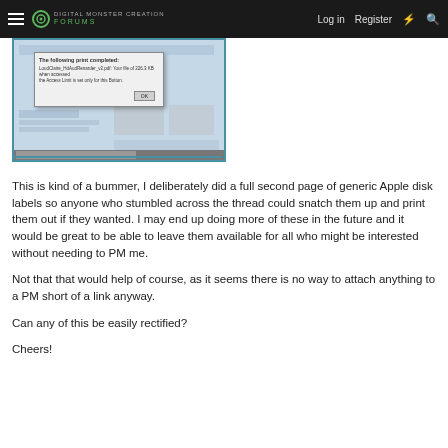Log in   Register
[Figure (screenshot): Screenshot of a forum page showing a file download dialog box with an OK button, overlaid on a browser window with content visible in the background.]
This is kind of a bummer, I deliberately did a full second page of generic Apple disk labels so anyone who stumbled across the thread could snatch them up and print them out if they wanted. I may end up doing more of these in the future and it would be great to be able to leave them available for all who might be interested without needing to PM me.
Not that that would help of course, as it seems there is no way to attach anything to a PM short of a link anyway.
Can any of this be easily rectified?
Cheers!